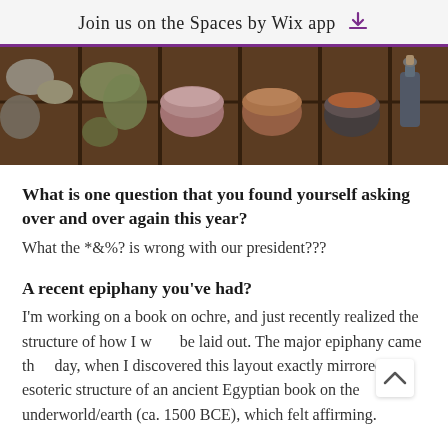Join us on the Spaces by Wix app
[Figure (photo): A wooden compartmented tray/box containing various jars, bowls, and containers of pigments and natural materials including ochre and other earthy substances.]
What is one question that you found yourself asking over and over again this year?
What the *&%? is wrong with our president???
A recent epiphany you've had?
I'm working on a book on ochre, and just recently realized the structure of how I w be laid out. The major epiphany came th day, when I discovered this layout exactly mirrored the esoteric structure of an ancient Egyptian book on the underworld/earth (ca. 1500 BCE), which felt affirming.